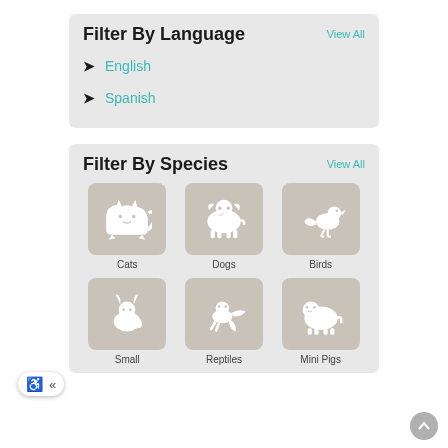Filter By Language
View All
English
Spanish
Filter By Species
View All
[Figure (illustration): Grid of animal species icons: Cats, Dogs, Birds in top row; Small, Reptiles, Mini Pigs in bottom row (partially visible)]